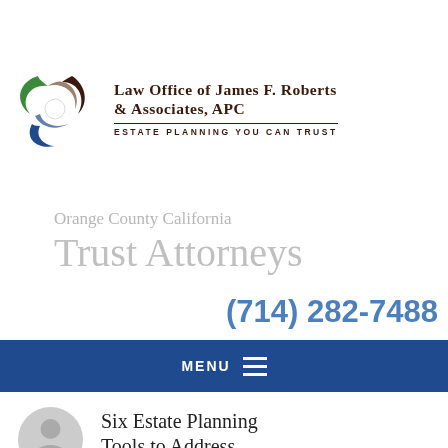[Figure (logo): Law Office of James F. Roberts & Associates, APC logo with interlocking green, dark brown/maroon, and dark blue circular arc shapes, accompanied by firm name and tagline 'Estate Planning You Can Trust']
Orange County California
Trust Attorneys
(714) 282-7488
MENU
Six Estate Planning Tools to Address